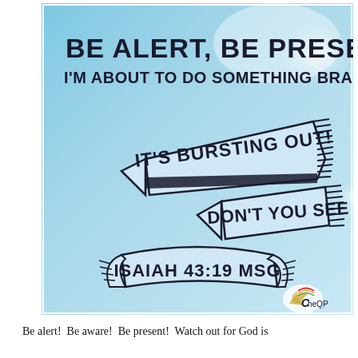[Figure (illustration): Blue sky background illustration with bold text: 'BE ALERT, BE PRESENT!' and 'I'M ABOUT TO DO SOMETHING BRAND-NEW!' at top. Two ribbon/banner shapes in the middle with 'IT'S BURSTING OUT!' and 'DON'T YOU SEE IT?'. A curved ribbon banner at the bottom reads 'ISAIAH 43:19 MSG'. Small logo in bottom right corner.]
Be alert!  Be aware!  Be present!  Watch out for God is